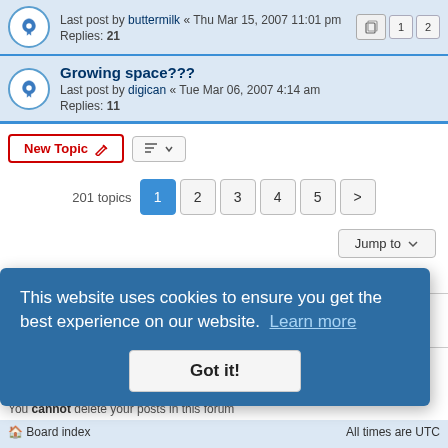Last post by buttermilk « Thu Mar 15, 2007 11:01 pm
Replies: 21
Growing space???
Last post by digican « Tue Mar 06, 2007 4:14 am
Replies: 11
New Topic | Sort | 201 topics 1 2 3 4 5 >
Jump to
WHO IS ONLINE
Users browsing this forum: No registered users
FORUM PERMISSIONS
You cannot post new topics in this forum
You cannot reply to topics in this forum
You cannot edit your posts in this forum
You cannot delete your posts in this forum
You cannot post attachments in this forum
Board index | All times are UTC
Powered by phpBB® Forum Software © phpBB Limited
Privacy | Terms
This website uses cookies to ensure you get the best experience on our website. Learn more
Got it!